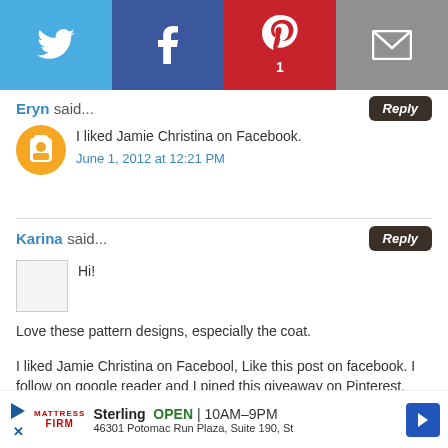[Figure (other): Social sharing bar with Twitter, Facebook, Pinterest (count: 1), and Email buttons]
Eryn said...
I liked Jamie Christina on Facebook.
June 1, 2012 at 12:21 PM
Karina said...
Hi!
Love these pattern designs, especially the coat.
I liked Jamie Christina on Facebool, Like this post on facebook. I follow on google reader and I pined this giveaway on Pinterest.
Thanks!
[Figure (other): Advertisement for Mattress Firm in Sterling, OPEN 10AM-9PM, 46301 Potomac Run Plaza, Suite 190, St]